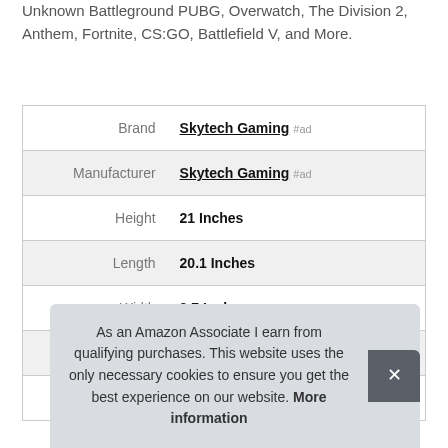Unknown Battleground PUBG, Overwatch, The Division 2, Anthem, Fortnite, CS:GO, Battlefield V, and More.
| Field | Value |
| --- | --- |
| Brand | Skytech Gaming #ad |
| Manufacturer | Skytech Gaming #ad |
| Height | 21 Inches |
| Length | 20.1 Inches |
| Width | 9.7 Inches |
| Part Number | ST-Blaze-II-2600-1660-8G3-500G |
| Model | ST-Blaze-II-2600-1660-8G3-500G |
As an Amazon Associate I earn from qualifying purchases. This website uses the only necessary cookies to ensure you get the best experience on our website. More information